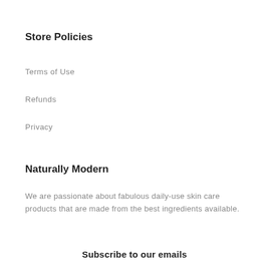Store Policies
Terms of Use
Refunds
Privacy
Naturally Modern
We are passionate about fabulous daily-use skin care products that are made from the best ingredients available.
Subscribe to our emails